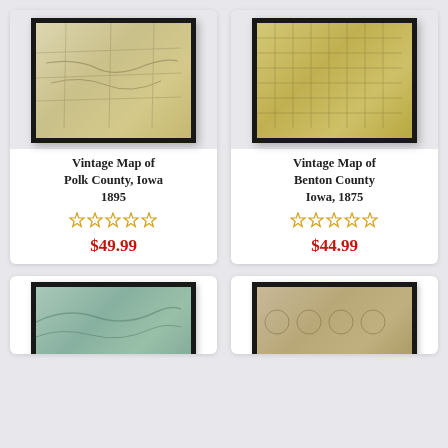[Figure (photo): Framed vintage map of Polk County, Iowa 1895 with dark border, showing county roads and townships on aged paper]
Vintage Map of Polk County, Iowa 1895
★★★★★ (empty stars rating)
$49.99
[Figure (photo): Framed vintage map of Benton County, Iowa 1875 with dark border, showing grid survey lines on yellowed paper]
Vintage Map of Benton County Iowa, 1875
★★★★★ (empty stars rating)
$44.99
[Figure (photo): Partial view of a framed vintage map (bottom of page), light teal/blue coloring]
[Figure (photo): Partial view of a framed vintage map (bottom of page), sepia/brown tones with circular decorative elements]